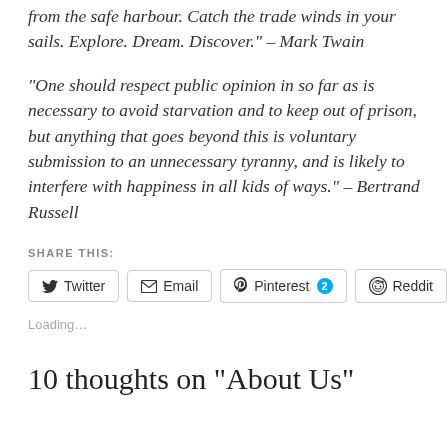“from the safe harbour. Catch the trade winds in your sails. Explore. Dream. Discover.” – Mark Twain
“One should respect public opinion in so far as is necessary to avoid starvation and to keep out of prison, but anything that goes beyond this is voluntary submission to an unnecessary tyranny, and is likely to interfere with happiness in all kids of ways.” – Bertrand Russell
SHARE THIS:
Twitter
Email
Pinterest 2
Reddit
Loading...
10 thoughts on “About Us”